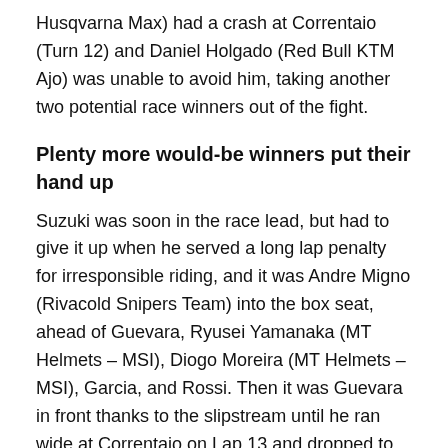Husqvarna Max) had a crash at Correntaio (Turn 12) and Daniel Holgado (Red Bull KTM Ajo) was unable to avoid him, taking another two potential race winners out of the fight.
Plenty more would-be winners put their hand up
Suzuki was soon in the race lead, but had to give it up when he served a long lap penalty for irresponsible riding, and it was Andre Migno (Rivacold Snipers Team) into the box seat, ahead of Guevara, Ryusei Yamanaka (MT Helmets – MSI), Diogo Moreira (MT Helmets – MSI), Garcia, and Rossi. Then it was Guevara in front thanks to the slipstream until he ran wide at Correntaio on Lap 13 and dropped to fifth, putting Migno back in front.